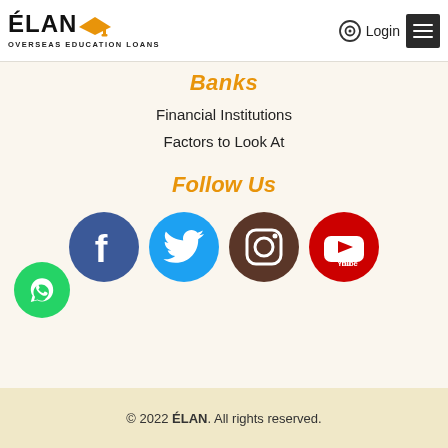[Figure (logo): ÉLAN Overseas Education Loans logo with graduation cap icon, Login button and hamburger menu on the right]
Banks
Financial Institutions
Factors to Look At
Follow Us
[Figure (illustration): Social media icons: Facebook (dark blue), Twitter (light blue), Instagram (brown), YouTube (red)]
[Figure (illustration): Green WhatsApp phone call button in bottom left]
© 2022 ÉLAN. All rights reserved.